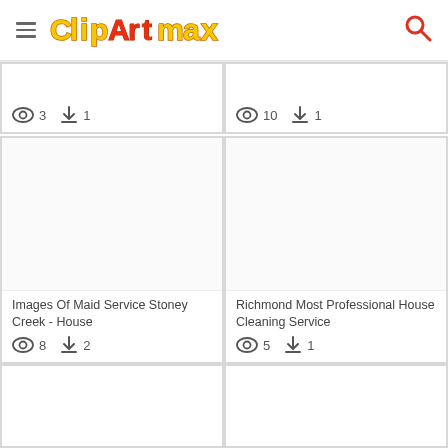ClipartMax
[Figure (screenshot): Partial top-left card showing view count 3 and download count 1]
[Figure (screenshot): Partial top-right card showing view count 10 and download count 1]
[Figure (screenshot): Middle-left card: Images Of Maid Service Stoney Creek - House, views 8, downloads 2]
Images Of Maid Service Stoney Creek - House
[Figure (screenshot): Middle-right card: Richmond Most Professional House Cleaning Service, views 5, downloads 1]
Richmond Most Professional House Cleaning Service
[Figure (screenshot): Bottom-left card, partially visible, no title shown]
[Figure (screenshot): Bottom-right card, partially visible, no title shown]